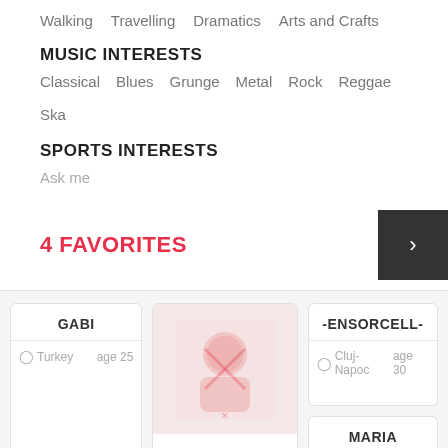Walking   Travelling   Dramatics   Arts and Crafts
MUSIC INTERESTS
Classical   Blues   Grunge   Metal   Rock   Reggae   Ska
SPORTS INTERESTS
Ask me
4 FAVORITES
GABI
Turkey   age 25
[Figure (photo): Profile photo placeholder with red/pink figure icon on light pink background for REBEKA BARAN...]
REBEKA BARAN...
Budapest X   age 23
-ENSORCELL-
Cluj-Napoc   age 30
MARIA
Kleparz, Kra   age 26